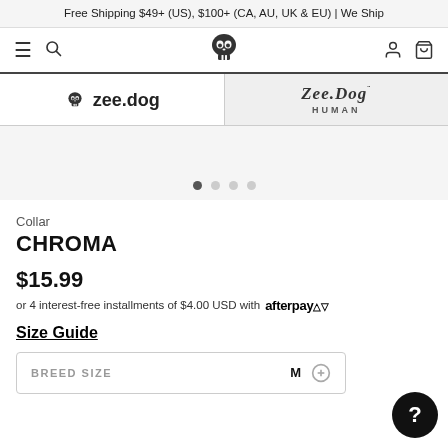Free Shipping $49+ (US), $100+ (CA, AU, UK & EU) | We Ship
[Figure (screenshot): Zee.dog website navigation bar with hamburger menu, search icon, skull logo in center, user icon and cart icon]
[Figure (logo): zee.dog brand tab on the left with skull icon and text zee.dog; Zee.Dog HUMAN brand tab on the right in cursive style]
[Figure (screenshot): Product image carousel area with 4 pagination dots, first dot active]
Collar
CHROMA
$15.99
or 4 interest-free installments of $4.00 USD with afterpay
Size Guide
BREED SIZE  M